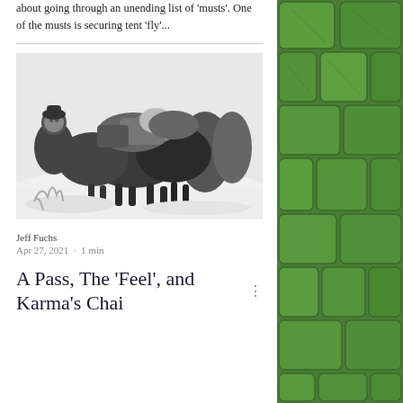about going through an unending list of ‘musts’. One of the musts is securing tent ‘fly’...
[Figure (photo): Black and white photograph of a person with pack horses or mules loaded with supplies, trudging through deep snow in a mountain pass]
Jeff Fuchs
Apr 27, 2021  ·  1 min
A Pass, The 'Feel', and Karma's Chai